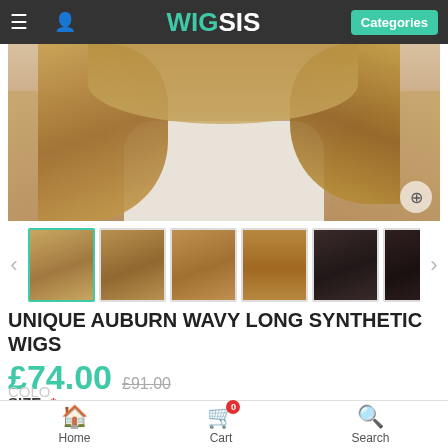WIG SIS — Categories
[Figure (photo): Product photo of a woman wearing auburn wavy long synthetic wig, showing hair flowing over shoulders, white/grey top]
[Figure (photo): Thumbnail strip with 6 product images: front view, wavy front, hands in hair, back view, cap structure diagram, cap interior diagram]
UNIQUE AUBURN WAVY LONG SYNTHETIC WIGS
£74.00 £91.00
SIZE: *
Average(A)
Home   Cart 0   Search